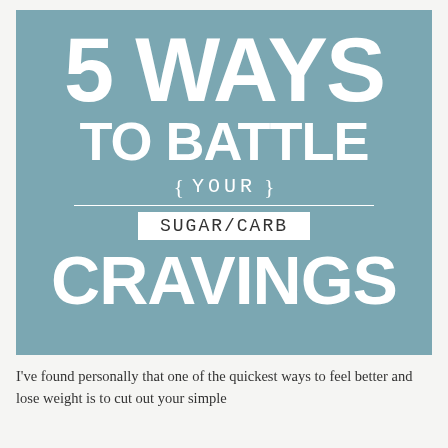[Figure (infographic): Teal/blue-grey banner graphic with large white bold text reading '5 WAYS TO BATTLE { YOUR } SUGAR/CARB CRAVINGS'. The word YOUR is in a smaller serif/monospace font flanked by curly braces, with a horizontal white line beneath. SUGAR/CARB appears in a white box with dark text.]
I've found personally that one of the quickest ways to feel better and lose weight is to cut out your simple